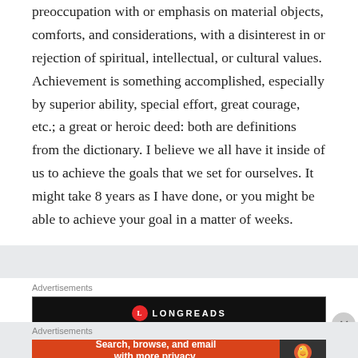preoccupation with or emphasis on material objects, comforts, and considerations, with a disinterest in or rejection of spiritual, intellectual, or cultural values. Achievement is something accomplished, especially by superior ability, special effort, great courage, etc.; a great or heroic deed: both are definitions from the dictionary. I believe we all have it inside of us to achieve the goals that we set for ourselves. It might take 8 years as I have done, or you might be able to achieve your goal in a matter of weeks.
Advertisements
[Figure (screenshot): Longreads advertisement banner with black background, red circular logo, text 'Read anything great lately?']
Advertisements
[Figure (screenshot): DuckDuckGo advertisement banner: orange left panel with 'Search, browse, and email with more privacy. All in One Free App', dark right panel with DuckDuckGo duck logo]